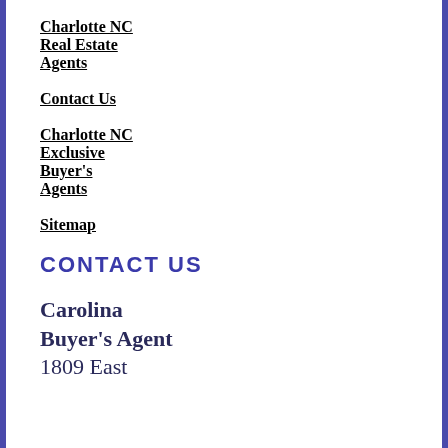Charlotte NC Real Estate Agents
Contact Us
Charlotte NC Exclusive Buyer's Agents
Sitemap
CONTACT US
Carolina Buyer's Agent 1809 East